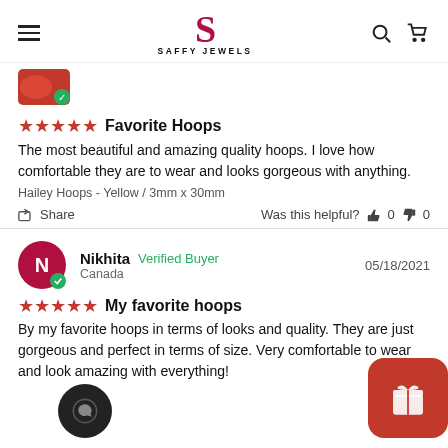SAFFY JEWELS
[Figure (photo): Partial product image at top of review (red/pink item, partially cut off)]
★★★★★  Favorite Hoops
The most beautiful and amazing quality hoops. I love how comfortable they are to wear and looks gorgeous with anything.
Hailey Hoops - Yellow / 3mm x 30mm
Share   Was this helpful?  👍 0  👎 0
Nikhita  Verified Buyer   05/18/2021
Canada
★★★★★  My favorite hoops
By my favorite hoops in terms of looks and quality. They are just gorgeous and perfect in terms of size. Very comfortable to wear and look amazing with everything!